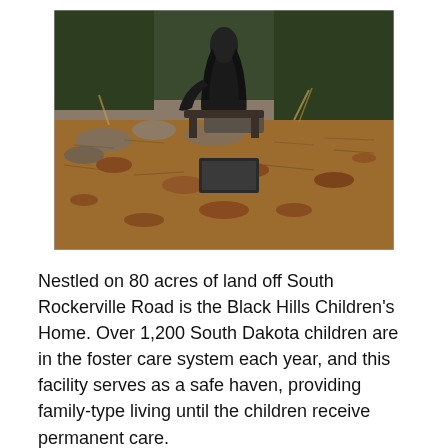[Figure (photo): Outdoor photo of a dark bronze statue of a robed figure seated on or near a bench, surrounded by pine needle-covered ground, rocks, and evergreen bushes. A small dark plaque is visible in the foreground.]
Nestled on 80 acres of land off South Rockerville Road is the Black Hills Children's Home. Over 1,200 South Dakota children are in the foster care system each year, and this facility serves as a safe haven, providing family-type living until the children receive permanent care.
Bill Colson, executive director of the Children's Home Society, says, "Our philosophy really is